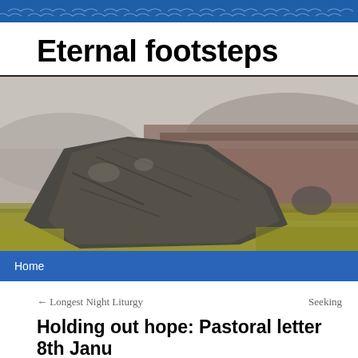Eternal footsteps — banner header with bird/wave pattern
Eternal footsteps
[Figure (photo): Large boulder or rock formation in a moorland landscape with heather and dry grass, misty hills in background, desaturated color photograph]
Home
← Longest Night Liturgy
Seeking
Holding out hope: Pastoral letter 8th Janu